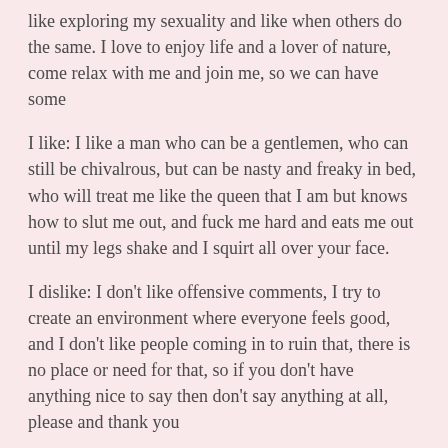like exploring my sexuality and like when others do the same. I love to enjoy life and a lover of nature, come relax with me and join me, so we can have some
I like: I like a man who can be a gentlemen, who can still be chivalrous, but can be nasty and freaky in bed, who will treat me like the queen that I am but knows how to slut me out, and fuck me hard and eats me out until my legs shake and I squirt all over your face.
I dislike: I don't like offensive comments, I try to create an environment where everyone feels good, and I don't like people coming in to ruin that, there is no place or need for that, so if you don't have anything nice to say then don't say anything at all, please and thank you